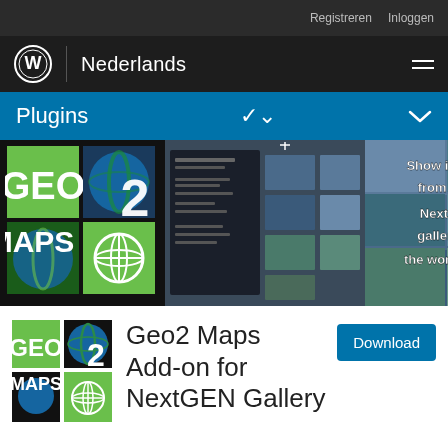Registreren   Inloggen
[Figure (logo): WordPress logo with Nederlands navigation bar and hamburger menu]
Plugins
[Figure (screenshot): Geo2 Maps plugin banner showing GEO2 MAPS logo, map screenshots, and text 'Show images from your NextGEN gallery on the world map']
Geo2 Maps Add-on for NextGEN Gallery
[Figure (logo): Geo2 Maps small logo icon]
Download